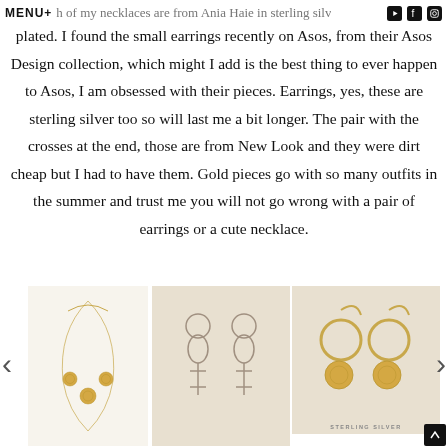MENU+
h of my necklaces are from Ania Haie in sterling silver and gold plated. I found the small earrings recently on Asos, from their Asos Design collection, which might I add is the best thing to ever happen to Asos, I am obsessed with their pieces. Earrings, yes, these are sterling silver too so will last me a bit longer. The pair with the crosses at the end, those are from New Look and they were dirt cheap but I had to have them. Gold pieces go with so many outfits in the summer and trust me you will not go wrong with a pair of earrings or a cute necklace.
[Figure (photo): Gold delicate necklace with small coin pendants on white background]
[Figure (photo): Drop earrings with hoop and cross charms on beige background]
[Figure (photo): Gold hoop earrings with coin charms, sterling silver label, on beige background]